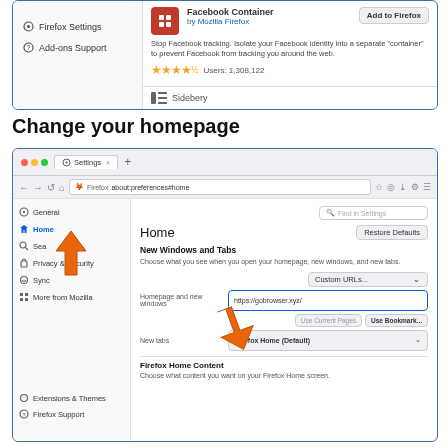[Figure (screenshot): Partial Firefox browser screenshot showing Facebook Container add-on listing with Firefox Settings and Add-ons Support sidebar items visible, plus Sidebery at bottom]
Change your homepage
[Figure (screenshot): Firefox browser Settings screenshot showing Home preferences page with Homepage and new windows field containing https://gobrowser.xyz/, Custom URLs dropdown, New tabs Firefox Home Default dropdown, and two orange arrows pointing to Home sidebar item and the URL input field]